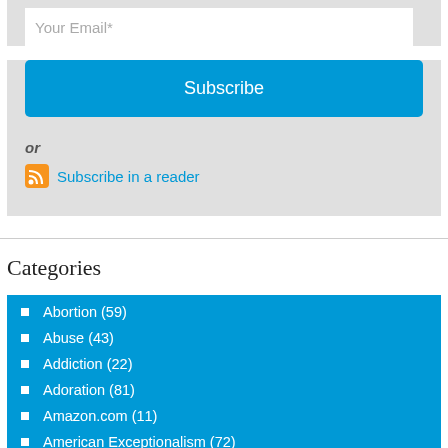Your Email*
Subscribe
or
Subscribe in a reader
Categories
Abortion (59)
Abuse (43)
Addiction (22)
Adoration (81)
Amazon.com (11)
American Exceptionalism (72)
Angels (25)
Anger (61)
Anxiety & Panic (72)